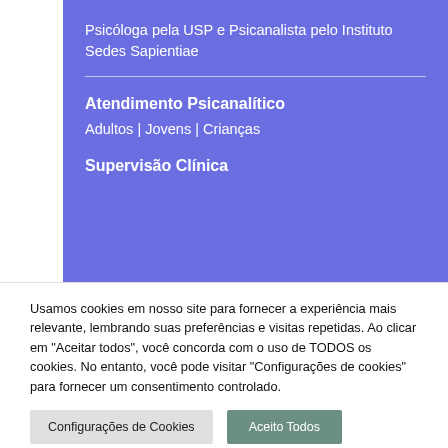Psicóloga pela USP e Psicanalista pelo Instituto Sedes Sapientiae
Atendimento Psicanalítico
Adultos | Jovens | Crianças
Supervisão Clínica
Usamos cookies em nosso site para fornecer a experiência mais relevante, lembrando suas preferências e visitas repetidas. Ao clicar em "Aceitar todos", você concorda com o uso de TODOS os cookies. No entanto, você pode visitar "Configurações de cookies" para fornecer um consentimento controlado.
Configurações de Cookies
Aceito Todos